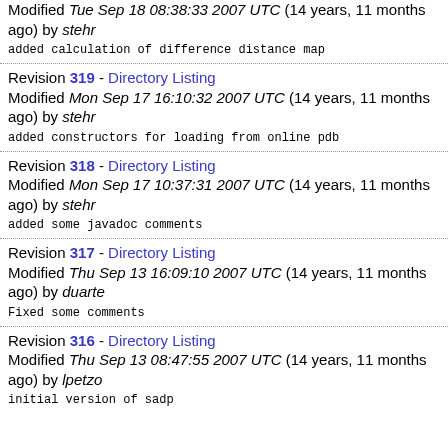Modified Tue Sep 18 08:38:33 2007 UTC (14 years, 11 months ago) by stehr
added calculation of difference distance map
Revision 319 - Directory Listing
Modified Mon Sep 17 16:10:32 2007 UTC (14 years, 11 months ago) by stehr
added constructors for loading from online pdb
Revision 318 - Directory Listing
Modified Mon Sep 17 10:37:31 2007 UTC (14 years, 11 months ago) by stehr
added some javadoc comments
Revision 317 - Directory Listing
Modified Thu Sep 13 16:09:10 2007 UTC (14 years, 11 months ago) by duarte
Fixed some comments
Revision 316 - Directory Listing
Modified Thu Sep 13 08:47:55 2007 UTC (14 years, 11 months ago) by lpetzo
initial version of sadp